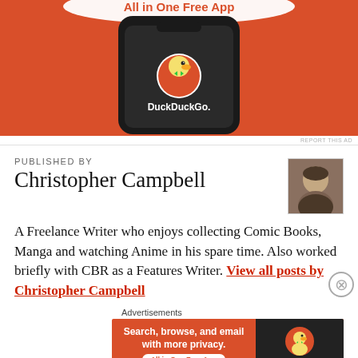[Figure (screenshot): DuckDuckGo 'All in One Free App' advertisement showing a smartphone with the DuckDuckGo duck logo on an orange background]
REPORT THIS AD
PUBLISHED BY
Christopher Campbell
[Figure (photo): Headshot photo of Christopher Campbell]
A Freelance Writer who enjoys collecting Comic Books, Manga and watching Anime in his spare time. Also worked briefly with CBR as a Features Writer. View all posts by Christopher Campbell
Advertisements
[Figure (screenshot): DuckDuckGo 'Search, browse, and email with more privacy. All in One Free App' advertisement banner]
REPORT THIS AD